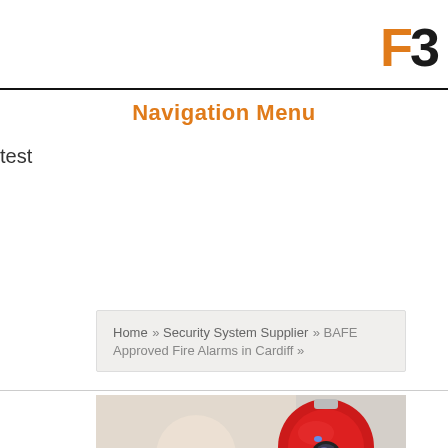[Figure (logo): F3 logo with orange F and dark 3 letter mark]
Navigation Menu
test
Home » Security System Supplier » BAFE Approved Fire Alarms in Cardiff »
[Figure (photo): Red fire alarm bell mounted on ceiling in a blurred corridor background]